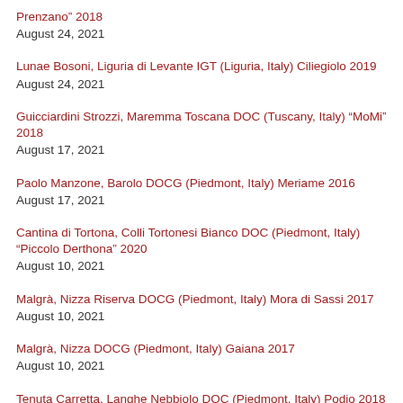Prenzano” 2018
August 24, 2021
Lunae Bosoni, Liguria di Levante IGT (Liguria, Italy) Ciliegiolo 2019
August 24, 2021
Guicciardini Strozzi, Maremma Toscana DOC (Tuscany, Italy) “MoMi” 2018
August 17, 2021
Paolo Manzone, Barolo DOCG (Piedmont, Italy) Meriame 2016
August 17, 2021
Cantina di Tortona, Colli Tortonesi Bianco DOC (Piedmont, Italy) “Piccolo Derthona” 2020
August 10, 2021
Malgrà, Nizza Riserva DOCG (Piedmont, Italy) Mora di Sassi 2017
August 10, 2021
Malgrà, Nizza DOCG (Piedmont, Italy) Gaiana 2017
August 10, 2021
Tenuta Carretta, Langhe Nebbiolo DOC (Piedmont, Italy) Podio 2018